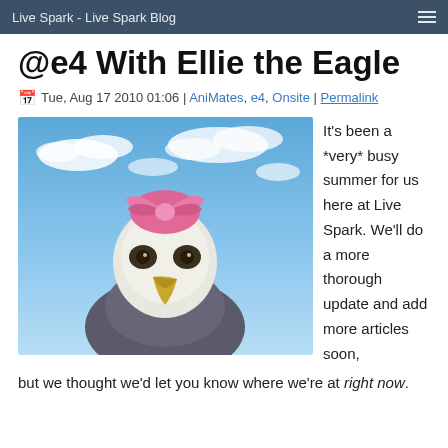Live Spark - Live Spark Blog
@e4 With Ellie the Eagle
Tue, Aug 17 2010 01:06 | AniMates, e4, Onsite | Permalink
[Figure (photo): Close-up photo of a bald eagle wearing a pink bow on its head, against a blue sky with clouds background.]
It's been a *very* busy summer for us here at Live Spark. We'll do a more thorough update and add more articles soon, but we thought we'd let you know where we're at right now.